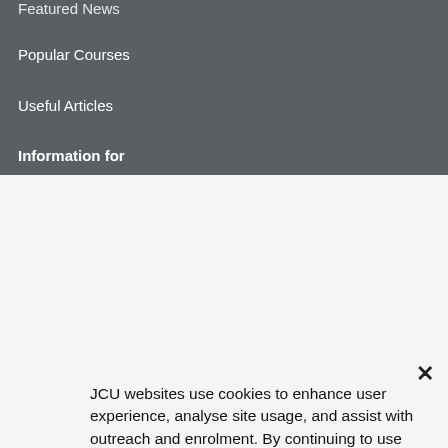Featured News
Popular Courses
Useful Articles
Information for
Current Students
Future St...
Alumni
Indigenous Students
International St...
Research Students
JCU websites use cookies to enhance user experience, analyse site usage, and assist with outreach and enrolment. By continuing to use this site, you are giving us consent to do this.
Agree
Tell me more